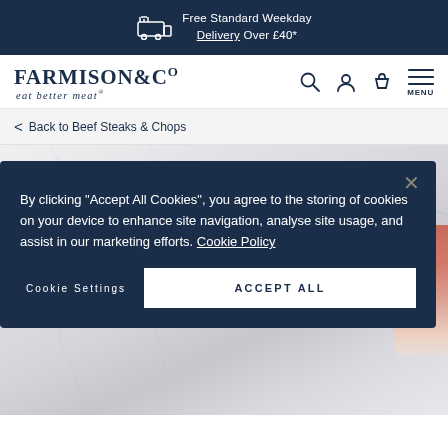Free Standard Weekday Delivery Over £40*
[Figure (logo): Farmison & Co logo with tagline 'eat better meat']
Back to Beef Steaks & Chops
[Figure (photo): Marble surface with raw meat visible at top right corner]
By clicking "Accept All Cookies", you agree to the storing of cookies on your device to enhance site navigation, analyse site usage, and assist in our marketing efforts. Cookie Policy
Cookie Settings
ACCEPT ALL